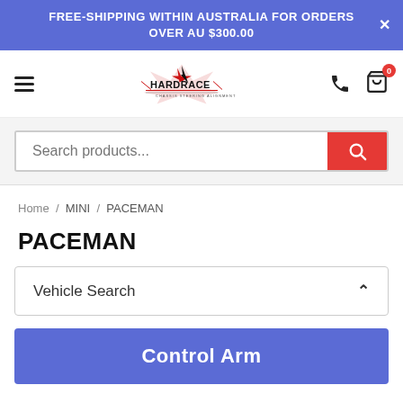FREE-SHIPPING WITHIN AUSTRALIA FOR ORDERS OVER AU $300.00
[Figure (logo): Hardrace logo with text: HARDRACE CHASSIS STEERING ALIGNMENT]
Search products...
Home / MINI / PACEMAN
PACEMAN
Vehicle Search
Control Arm